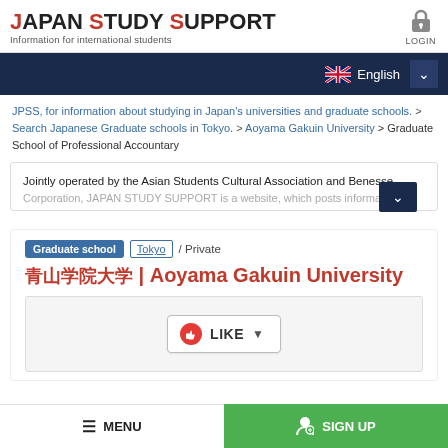[Figure (logo): Japan Study Support logo with text and tagline]
[Figure (logo): Login icon (lock) with LOGIN label]
[Figure (screenshot): Navigation bar with UK flag, English language selector and dropdown chevron]
JPSS, for information about studying in Japan's universities and graduate schools. > Search Japanese Graduate schools in Tokyo. > Aoyama Gakuin University > Graduate School of Professional Accountary
Jointly operated by the Asian Students Cultural Association and Benesse Corporation, JAPAN STUDY SUPPORT is a website, which posts information
Graduate school  Tokyo / Private
青山学院大学 | Aoyama Gakuin University
[Figure (infographic): LIKE button with thumbs up icon and dropdown arrow]
MENU  SIGN UP